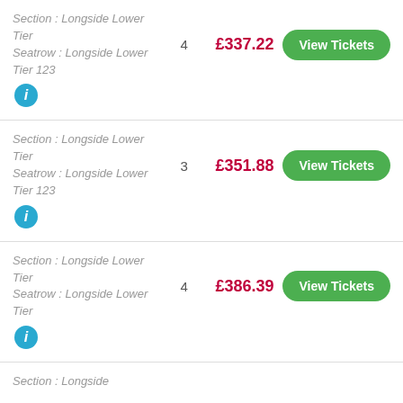Section : Longside Lower Tier
Seatrow : Longside Lower Tier 123 | 4 | £337.22
Section : Longside Lower Tier
Seatrow : Longside Lower Tier 123 | 3 | £351.88
Section : Longside Lower Tier
Seatrow : Longside Lower Tier | 4 | £386.39
Section : Longside Lower Tier